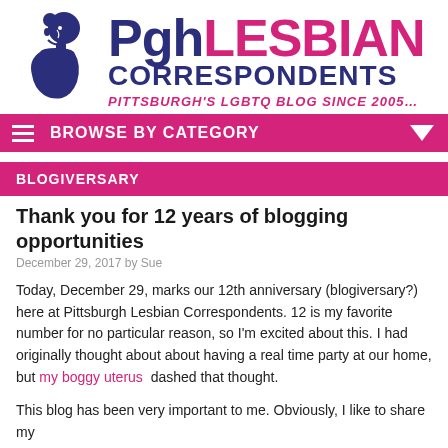[Figure (logo): PghLESBIAN Correspondents logo with stylized female silhouette profile in dark navy blue, tagline: PITTSBURGH'S LGBTQ BLOG SINCE 2005...]
BROWSE BY CATEGORY
BLOGIVERSARY
Thank you for 12 years of blogging opportunities
December 29, 2017 by Sue
Today, December 29, marks our 12th anniversary (blogiversary?) here at Pittsburgh Lesbian Correspondents. 12 is my favorite number for no particular reason, so I'm excited about this. I had originally thought about about having a real time party at our home, but my boggy uterus  dashed that thought.
This blog has been very important to me. Obviously, I like to share my